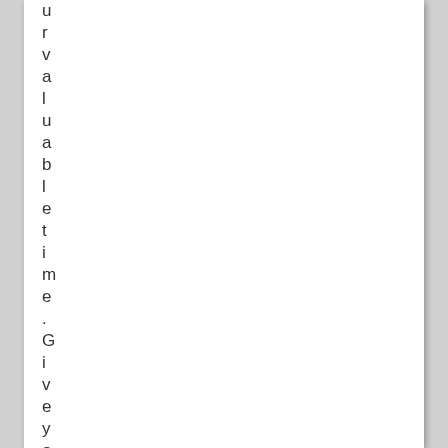ur valuable time. Give your ca